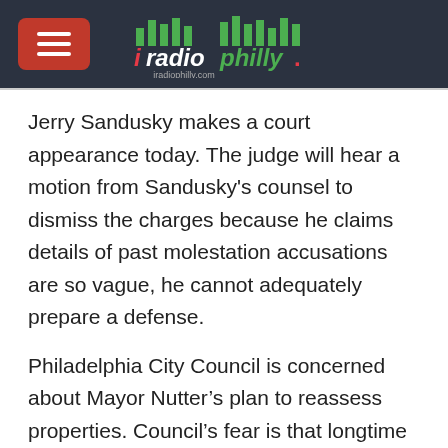iRadioPhilly - iradiophilly.com
Jerry Sandusky makes a court appearance today. The judge will hear a motion from Sandusky's counsel to dismiss the charges because he claims details of past molestation accusations are so vague, he cannot adequately prepare a defense.
Philadelphia City Council is concerned about Mayor Nutter’s plan to reassess properties. Council’s fear is that longtime residents will…
Read More
Councilman Kenney's $29k Twitter Help, Estrogen Cancer Link, Romney Lead Widens